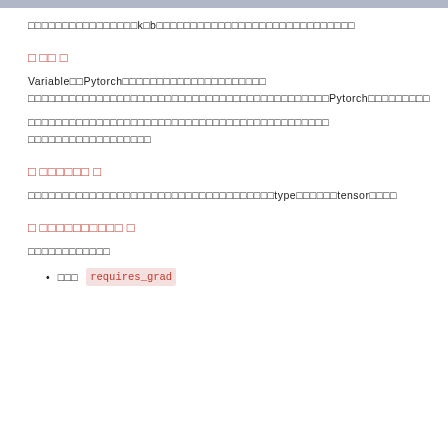□□□□□□□□□□□□□□□□k□b□□□□□□□□□□□□□□□□□□□□□□□□□□□□□
□ □□ □
Variable□□Pytorch□□□□□□□□□□□□□□□□□□□□□
□□□□□□□□□□□□□□□□□□□□□□□□□□□□□□□□□□□□□□□□□□□□Pytorch□□□□□□□□□
□□□□□□□□□□□□□□□□□□□□□□□□□□□□□□□□□□□□□□□□□□□□
□□□□□□□□□□□□□□□□□□
□ □□□□□□ □
□□□□□□□□□□□□□□□□□□□□□□□□□□□□□□□□□□□□type□□□□□□tensor□□□□
□ □□□□□□□□□ □
□□□□□□□□□□□□
□□□ requires_grad